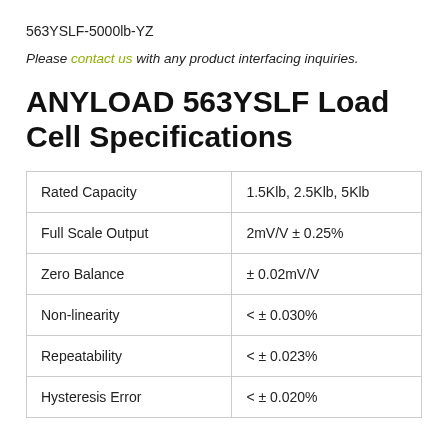563YSLF-5000lb-YZ
Please contact us with any product interfacing inquiries.
ANYLOAD 563YSLF Load Cell Specifications
|  |  |
| --- | --- |
| Rated Capacity | 1.5Klb, 2.5Klb, 5Klb |
| Full Scale Output | 2mV/V ± 0.25% |
| Zero Balance | ± 0.02mV/V |
| Non-linearity | < ± 0.030% |
| Repeatability | < ± 0.023% |
| Hysteresis Error | < ± 0.020% |